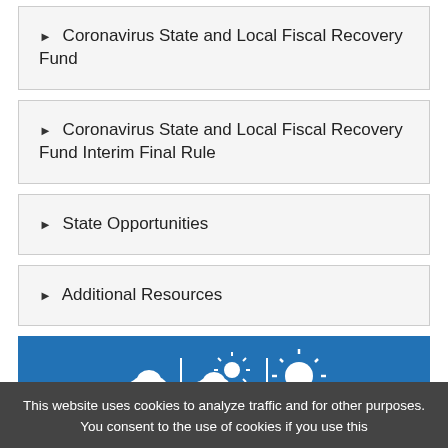▶ Coronavirus State and Local Fiscal Recovery Fund
▶ Coronavirus State and Local Fiscal Recovery Fund Interim Final Rule
▶ State Opportunities
▶ Additional Resources
[Figure (logo): NCSL logo on blue background with cloud and sun weather icons above the NCSL wordmark]
This website uses cookies to analyze traffic and for other purposes. You consent to the use of cookies if you use this